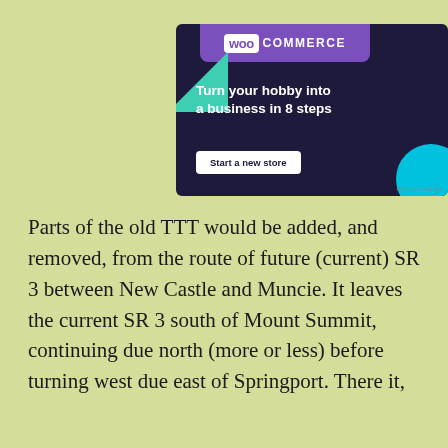[Figure (logo): WooCommerce advertisement banner on dark navy background with purple WooCommerce logo, green triangle shape, cyan circle, tagline 'Turn your hobby into a business in 8 steps', and 'Start a new store' button]
Parts of the old TTT would be added, and removed, from the route of future (current) SR 3 between New Castle and Muncie. It leaves the current SR 3 south of Mount Summit, continuing due north (more or less) before turning west due east of Springport. There it,